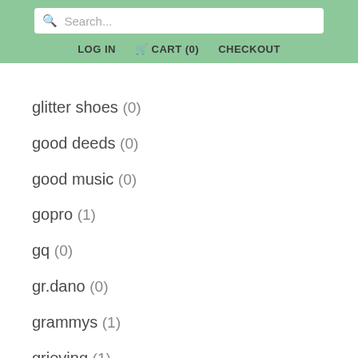Search... LOG IN CART (0) CHECKOUT
glitter shoes (0)
good deeds (0)
good music (0)
gopro (1)
gq (0)
gr.dano (0)
grammys (1)
grieving (1)
grimes (0)
gulf of mexico (1)
haim (0)